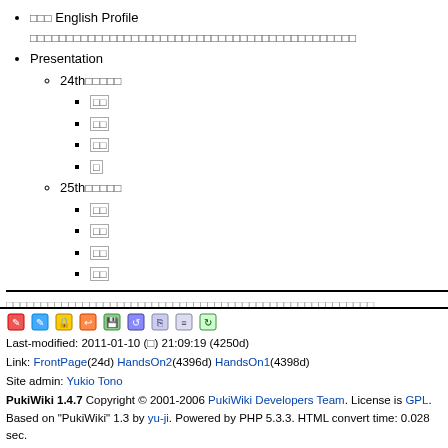□□□ English Profile □□□□□□□□□□□□□□□□□□□□□□□□□□□□□□□□□□□□□□□□
Presentation
24th□□□□□
□□
□□
□□
□
25th□□□□□
□□
□□
□□
□□
□□□□□□□□□□□□□□□□□□□□□□□□□□□□□□□□□□□□□□□□□□□□□□□□□□□□□
Last-modified: 2011-01-10 (□) 21:09:19 (4250d)
Link: FrontPage(24d) HandsOn2(4396d) HandsOn1(4398d)
Site admin: Yukio Tono
PukiWiki 1.4.7 Copyright © 2001-2006 PukiWiki Developers Team. License is GPL.
Based on "PukiWiki" 1.3 by yu-ji. Powered by PHP 5.3.3. HTML convert time: 0.028 sec.